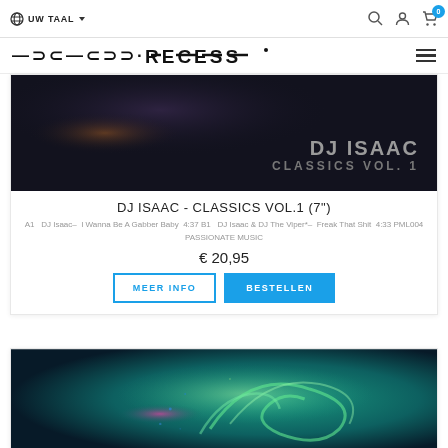UW TAAL
[Figure (screenshot): Recess web shop logo header with navigation: language selector (UW TAAL), search icon, user icon, cart icon with badge 0, hamburger menu]
[Figure (photo): DJ Isaac - Classics Vol. 1 album cover art, dark background with text DJ ISAAC CLASSICS VOL. 1]
DJ ISAAC - CLASSICS VOL.1 (7")
A1   DJ Isaac–   I Wanna Be A Gabber Baby   4:37 B1   DJ Isaac & DJ The Viper*–   Freak That Shit   4:33 PML004 PASSIONATE MUSIC
€ 20,95
MEER INFO   BESTELLEN
[Figure (photo): Second product album cover art, teal/green abstract swirling creature or creature-like artwork on dark teal background]